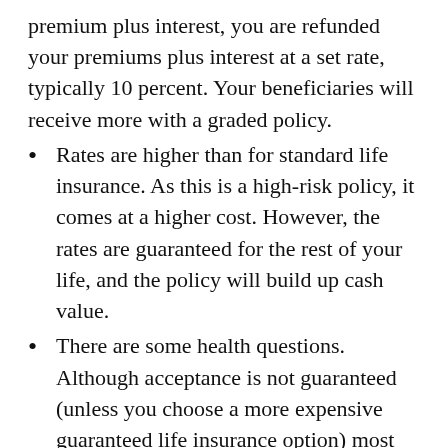premium plus interest, you are refunded your premiums plus interest at a set rate, typically 10 percent. Your beneficiaries will receive more with a graded policy.
Rates are higher than for standard life insurance. As this is a high-risk policy, it comes at a higher cost. However, the rates are guaranteed for the rest of your life, and the policy will build up cash value.
There are some health questions. Although acceptance is not guaranteed (unless you choose a more expensive guaranteed life insurance option) most people will qualify for graded death benefit life insurance. This includes people who have suffered heart conditions, cancer, and even stroke, provided